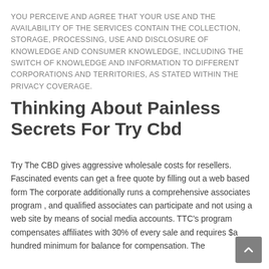YOU PERCEIVE AND AGREE THAT YOUR USE AND THE AVAILABILITY OF THE SERVICES CONTAIN THE COLLECTION, STORAGE, PROCESSING, USE AND DISCLOSURE OF KNOWLEDGE AND CONSUMER KNOWLEDGE, INCLUDING THE SWITCH OF KNOWLEDGE AND INFORMATION TO DIFFERENT CORPORATIONS AND TERRITORIES, AS STATED WITHIN THE PRIVACY COVERAGE.
Thinking About Painless Secrets For Try Cbd
Try The CBD gives aggressive wholesale costs for resellers. Fascinated events can get a free quote by filling out a web based form The corporate additionally runs a comprehensive associates program , and qualified associates can participate and not using a web site by means of social media accounts. TTC's program compensates affiliates with 30% of every sale and requires $a hundred minimum for balance for compensation. The